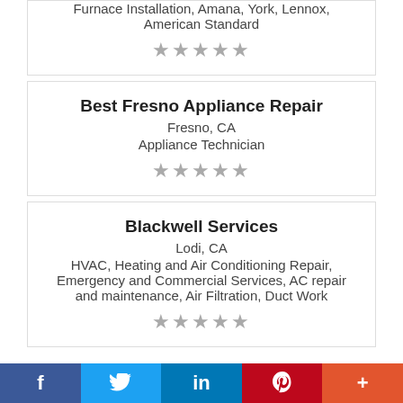Furnace Installation, Amana, York, Lennox, American Standard
★★★★★
Best Fresno Appliance Repair
Fresno, CA
Appliance Technician
★★★★★
Blackwell Services
Lodi, CA
HVAC, Heating and Air Conditioning Repair, Emergency and Commercial Services, AC repair and maintenance, Air Filtration, Duct Work
★★★★★
Bostrack Heating & Cooling
f  (Twitter bird)  in  P  +